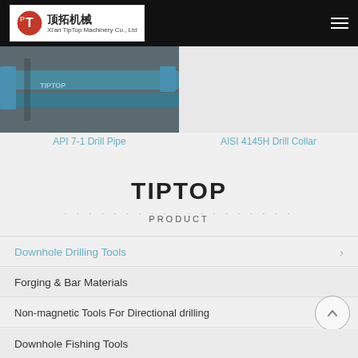Xi'an TipTop Machinery Co., Ltd
[Figure (photo): Photo of API 7-1 Drill Pipe — metal pipes with blue caps]
API 7-1 Drill Pipe
AISI 4145H Drill Collar
TIPTOP
PRODUCT
Downhole Drilling Tools
Forging & Bar Materials
Non-magnetic Tools For Directional drilling
Downhole Fishing Tools